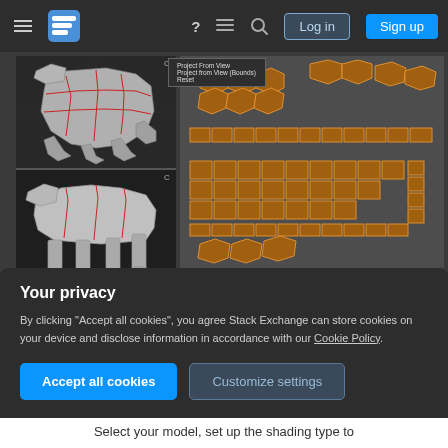Stack Exchange navigation bar with Log in and Sign up buttons
[Figure (screenshot): Blender 3D application screenshot showing a low-poly animal model (bear/big cat) in two viewport angles on the left, and UV unwrap layout on the right with orange mesh lines on dark background. A small popup menu shows 'Project From View', 'Project from View (Bounds)', 'Reset' options.]
Now you want to put the texture on your model
Your privacy
By clicking "Accept all cookies", you agree Stack Exchange can store cookies on your device and disclose information in accordance with our Cookie Policy.
Accept all cookies | Customize settings
Select your model, set up the shading type to